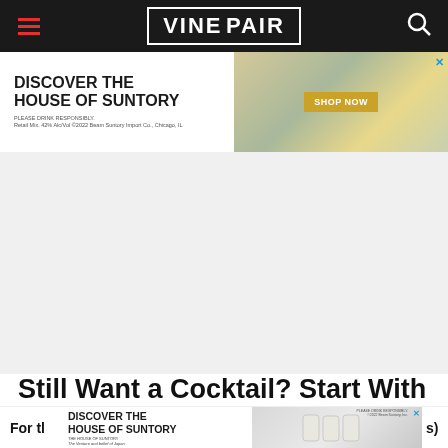VinePair
[Figure (screenshot): House of Suntory advertisement banner with 'Discover the House of Suntory' text, Shop Now button, and product image]
[Figure (photo): Large gray placeholder area for advertisement]
Still Want a Cocktail? Start With a Simple Riff
[Figure (screenshot): Second House of Suntory advertisement banner]
For th